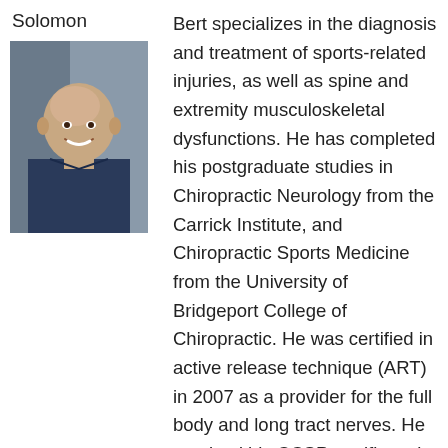Solomon
[Figure (photo): Headshot photo of a bald man in a dark blue shirt, smiling, in what appears to be a gym or clinical setting]
Bert specializes in the diagnosis and treatment of sports-related injuries, as well as spine and extremity musculoskeletal dysfunctions. He has completed his postgraduate studies in Chiropractic Neurology from the Carrick Institute, and Chiropractic Sports Medicine from the University of Bridgeport College of Chiropractic. He was certified in active release technique (ART) in 2007 as a provider for the full body and long tract nerves. He received his CCSP certificate in 2010 from the American Board of Chiropractic Sports Physicians, as well as received his CCEP